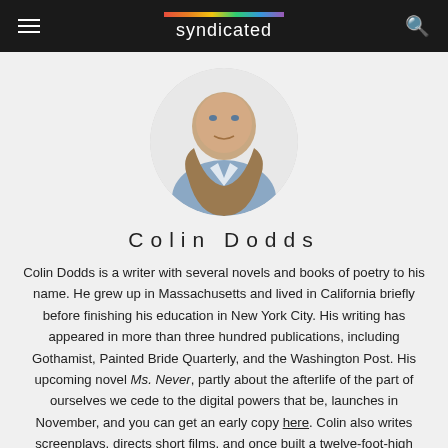syndicated
[Figure (photo): Circular profile photo of Colin Dodds, a man in a blue shirt and brown jacket, looking at the camera.]
Colin Dodds
Colin Dodds is a writer with several novels and books of poetry to his name. He grew up in Massachusetts and lived in California briefly before finishing his education in New York City. His writing has appeared in more than three hundred publications, including Gothamist, Painted Bride Quarterly, and the Washington Post. His upcoming novel Ms. Never, partly about the afterlife of the part of ourselves we cede to the digital powers that be, launches in November, and you can get an early copy here. Colin also writes screenplays, directs short films, and once built a twelve-foot-high pyramid out of PVC